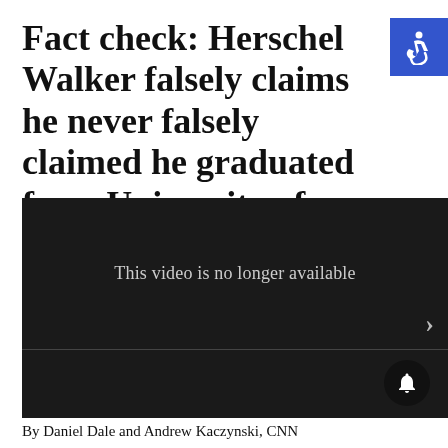Fact check: Herschel Walker falsely claims he never falsely claimed he graduated from University of Georgia
[Figure (screenshot): Dark video player showing 'This video is no longer available' message with a right arrow chevron and a bell notification button at the bottom right.]
By Daniel Dale and Andrew Kaczynski, CNN